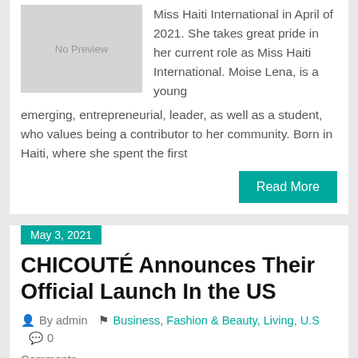Miss Haiti International in April of 2021. She takes great pride in her current role as Miss Haiti International. Moise Lena, is a young emerging, entrepreneurial, leader, as well as a student, who values being a contributor to her community. Born in Haiti, where she spent the first
Read More
May 3, 2021
CHICOUTÉ Announces Their Official Launch In the US
By admin   Business, Fashion & Beauty, Living, U.S   0 Comments
Inspiring skincare brand, CHICOUTÉ, announces the launch of its anti-aging skincare product to customers in the United